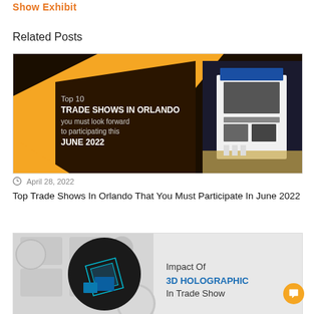Show Exhibit
Related Posts
[Figure (photo): Trade show booth image with orange and brown diagonal design, text: Top 10 TRADE SHOWS IN ORLANDO you must look forward to participating this JUNE 2022]
April 28, 2022
Top Trade Shows In Orlando That You Must Participate In June 2022
[Figure (photo): 3D holographic trade show display with circular dark element and spheres, text: Impact Of 3D HOLOGRAPHIC In Trade Show]